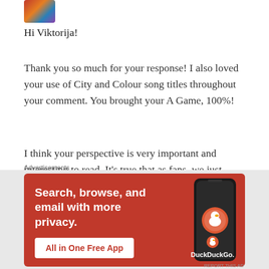[Figure (photo): Small avatar/profile image thumbnail in top left corner, multicolored]
Hi Viktorija!
Thank you so much for your response! I also loved your use of City and Colour song titles throughout your comment. You brought your A Game, 100%!
I think your perspective is very important and interesting to read. It’s true that as fans, we just want to thank artists or say hello – to see them up close, as they are heroes for so many! Dallas’ songs got me, and get me, through a lot of bad and good times. There’s nothing like listening to “Sleeping Sickness” on a road trip, while singing along so
Advertisements
[Figure (screenshot): DuckDuckGo advertisement banner with orange/red background. Text reads: Search, browse, and email with more privacy. All in One Free App. Shows a phone graphic and DuckDuckGo logo.]